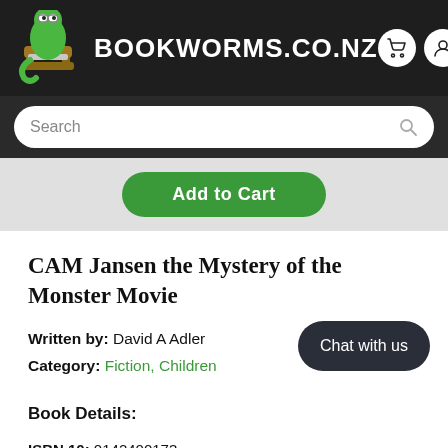BOOKWORMS.CO.NZ
Search
Add to Cart
CAM Jansen the Mystery of the Monster Movie
Written by: David A Adler
Category: Fiction, Children
Book Details:
ISBN 10: 0142400173